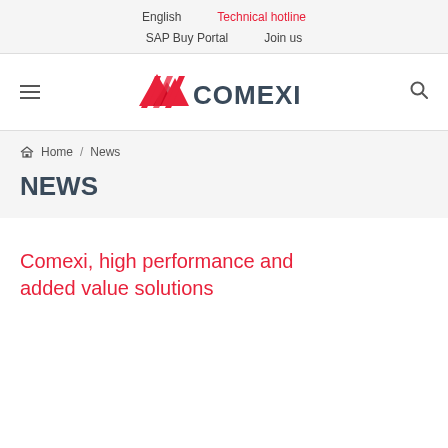English   Technical hotline   SAP Buy Portal   Join us
[Figure (logo): Comexi logo with red geometric shape and dark text COMEXI]
Home / News
NEWS
Comexi, high performance and added value solutions